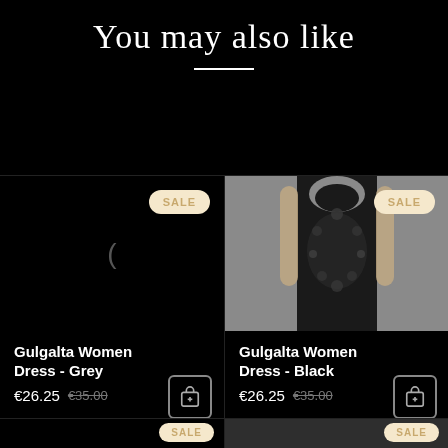You may also like
[Figure (photo): Product image placeholder for Gulgalta Women Dress - Grey (dark/loading state with spinner)]
Gulgalta Women Dress - Grey
€26.25  €35.00
[Figure (photo): Photo of model wearing Gulgalta Women Dress - Black, a dark tank dress with ornate Gothic print, grey background]
Gulgalta Women Dress - Black
€26.25  €35.00
[Figure (photo): Partial product image placeholder (bottom row, left), loading state]
[Figure (photo): Partial product image (bottom row, right), dark dress visible]